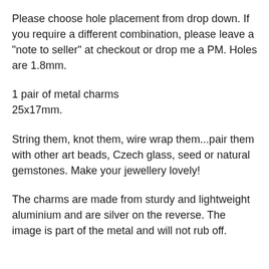Please choose hole placement from drop down. If you require a different combination, please leave a "note to seller" at checkout or drop me a PM. Holes are 1.8mm.
1 pair of metal charms
25x17mm.
String them, knot them, wire wrap them...pair them with other art beads, Czech glass, seed or natural gemstones. Make your jewellery lovely!
The charms are made from sturdy and lightweight aluminium and are silver on the reverse. The image is part of the metal and will not rub off.